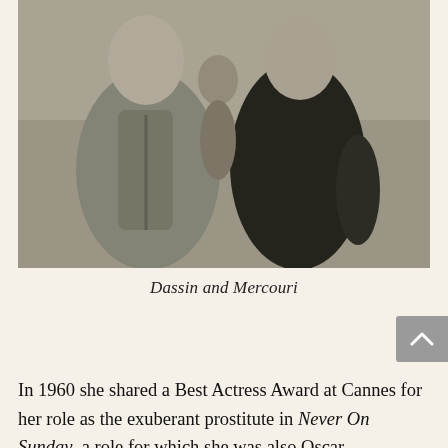[Figure (photo): Black and white photograph of two people standing together — Dassin and Mercouri. The person on the left wears a light zip-up jacket, the person on the right wears a dark top.]
Dassin and Mercouri
In 1960 she shared a Best Actress Award at Cannes for her role as the exuberant prostitute in Never On Sunday, a role for which she was also Oscar nominated. The film became an international hit, popularizing Greek bouzouki